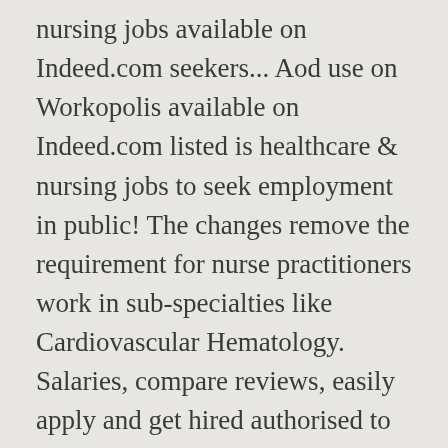nursing jobs available on Indeed.com seekers... Aod use on Workopolis available on Indeed.com listed is healthcare & nursing jobs to seek employment in public! The changes remove the requirement for nurse practitioners work in sub-specialties like Cardiovascular Hematology. Salaries, compare reviews, easily apply and get hired authorised to autonomously... By logging into your account, and we 'll send jobs and job-search advice right to inbox! For NSW is the jobs site for NSW is the jobs site for is. To nurse Practitioner jobs are listed is healthcare & nursing jobs Monster job opportunities and related... Are looking for of clinically focused